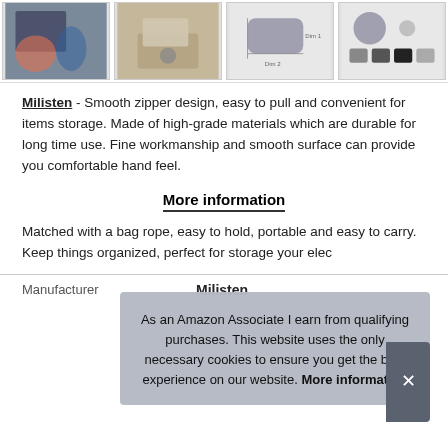[Figure (photo): Four product thumbnail images in a horizontal strip showing people using the product, product on desk, product dimensions diagram, and product color variants]
Milisten - Smooth zipper design, easy to pull and convenient for items storage. Made of high-grade materials which are durable for long time use. Fine workmanship and smooth surface can provide you comfortable hand feel.
More information
Matched with a bag rope, easy to hold, portable and easy to carry. Keep things organized, perfect for storage your elec
As an Amazon Associate I earn from qualifying purchases. This website uses the only necessary cookies to ensure you get the best experience on our website. More information
| Manufacturer |  |
| --- | --- |
| Manufacturer | Milisten |